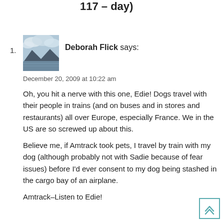117 – day)
1. Deborah Flick says:
December 20, 2009 at 10:22 am
Oh, you hit a nerve with this one, Edie! Dogs travel with their people in trains (and on buses and in stores and restaurants) all over Europe, especially France. We in the US are so screwed up about this.
Believe me, if Amtrack took pets, I travel by train with my dog (although probably not with Sadie because of fear issues) before I'd ever consent to my dog being stashed in the cargo bay of an airplane.
Amtrack–Listen to Edie!